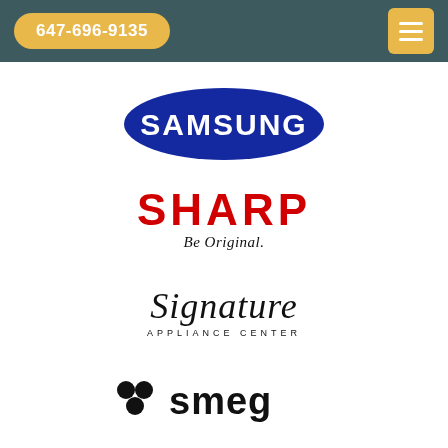647-696-9135
[Figure (logo): Samsung brand logo — blue oval with white SAMSUNG text]
[Figure (logo): Sharp logo — red bold SHARP text with tagline 'Be Original.' in black italic below]
[Figure (logo): Signature Appliance Center logo in cursive script black lettering]
[Figure (logo): Smeg brand logo — black dots cluster and bold lowercase 'smeg' text in black]